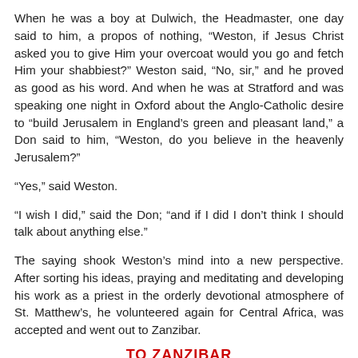When he was a boy at Dulwich, the Headmaster, one day said to him, a propos of nothing, “Weston, if Jesus Christ asked you to give Him your overcoat would you go and fetch Him your shabbiest?” Weston said, “No, sir,” and he proved as good as his word. And when he was at Stratford and was speaking one night in Oxford about the Anglo-Catholic desire to “build Jerusalem in England’s green and pleasant land,” a Don said to him, “Weston, do you believe in the heavenly Jerusalem?”
“Yes,” said Weston.
“I wish I did,” said the Don; “and if I did I don’t think I should talk about anything else.”
The saying shook Weston’s mind into a new perspective. After sorting his ideas, praying and meditating and developing his work as a priest in the orderly devotional atmosphere of St. Matthew’s, he volunteered again for Central Africa, was accepted and went out to Zanzibar.
TO ZANZIBAR
He went out with the highest ideals, and with theories to put to the test of experience. When he got out he found himself dissatisfied at every turn. He thought the life and discipline of